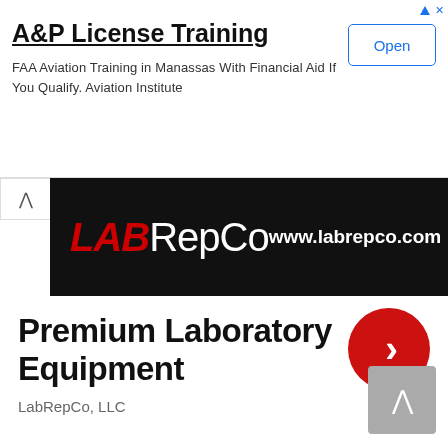[Figure (screenshot): Advertisement banner for A&P License Training. Shows title 'A&P License Training', description 'FAA Aviation Training in Manassas With Financial Aid If You Qualify. Aviation Institute', and an 'Open' button. AdChoices icons top right.]
[Figure (logo): LabRepCo black banner with red and white logo text 'LABRepCo' and website 'www.labrepco.com']
Premium Laboratory Equipment
LabRepCo, LLC